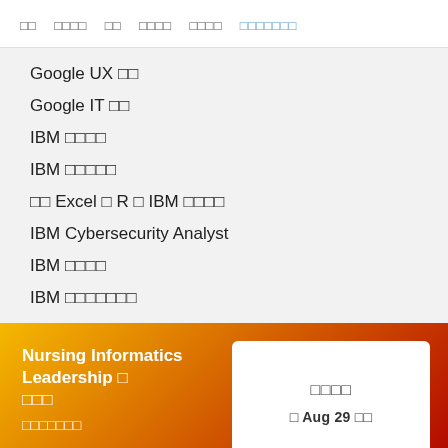□□   □□□□   □□   □□□□   □□□□   □□□□□□□
Google UX □□
Google IT □□
IBM □□□□
IBM □□□□□
□□ Excel □ R □ IBM □□□□
IBM Cybersecurity Analyst
IBM □□□□
IBM □□□□□□□
Facebook □□□□□□
Facebook □□□□□□
Salesforce □□□□□□
Nursing Informatics Leadership □ □□□ □□□□□□□
□□□□ □ Aug 29 □□